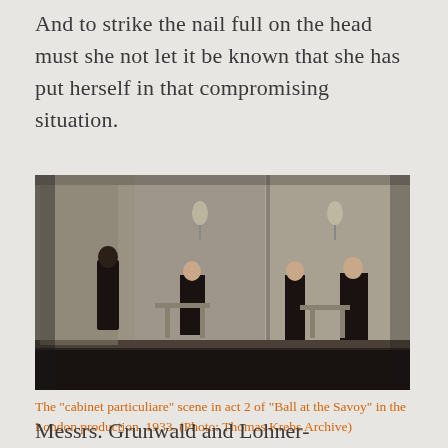And to strike the nail full on the head must she not let it be known that she has put herself in that compromising situation.
[Figure (photo): Black and white photograph of the 'cabinet particuliare' scene in act 2 of 'Ball at the Savoy' in the London production, 1933. Shows several elegantly dressed figures seated and standing at tables in an ornate room with decorative wallpaper.]
The "cabinet particuliare" scene in act 2 of "Ball at the Savoy" in the London production, 1933. (Photo: Thomas Krebs Archive)
Messrs. Grunwald and Lohner-